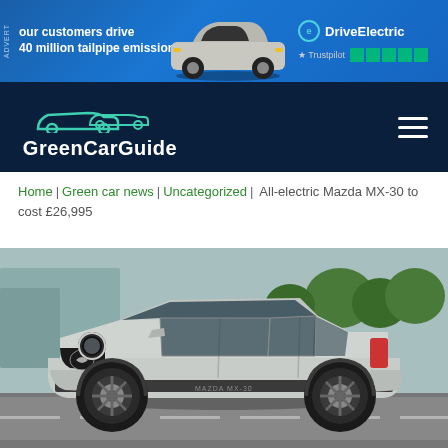[Figure (screenshot): Advertisement banner for DriveElectric with blue background, text 'our customers drive 40 million tailpipe emission', Mini electric car image, DriveElectric logo and Trustpilot 5-star rating]
[Figure (logo): GreenCarGuide website navigation bar with dark navy background, car outline logo, GreenCarGuide text logo, and hamburger menu icon]
Home | Green car news | Uncategorized | All-electric Mazda MX-30 to cost £26,995
[Figure (photo): Mazda MX-30 all-electric SUV in silver/white driving on a road with blurred urban background, MAZDA MX-30 badge visible on lower front]